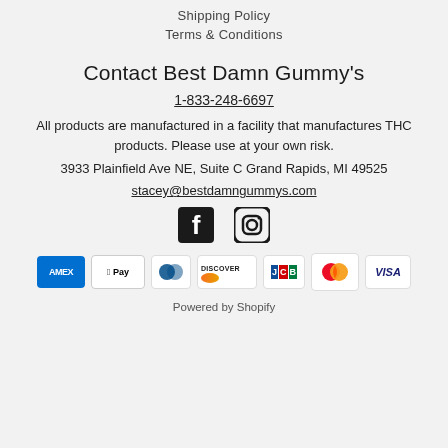Shipping Policy
Terms & Conditions
Contact Best Damn Gummy's
1-833-248-6697
All products are manufactured in a facility that manufactures THC products. Please use at your own risk.
3933 Plainfield Ave NE, Suite C Grand Rapids, MI 49525
stacey@bestdamngummys.com
[Figure (logo): Facebook and Instagram social media icons]
[Figure (infographic): Payment method icons: American Express, Apple Pay, Diners Club, Discover, JCB, Mastercard, Visa]
Powered by Shopify